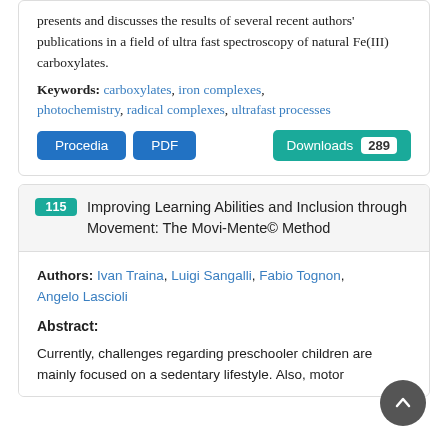presents and discusses the results of several recent authors' publications in a field of ultra fast spectroscopy of natural Fe(III) carboxylates.
Keywords: carboxylates, iron complexes, photochemistry, radical complexes, ultrafast processes
Procedia  PDF  Downloads 289
115 Improving Learning Abilities and Inclusion through Movement: The Movi-Mente© Method
Authors: Ivan Traina, Luigi Sangalli, Fabio Tognon, Angelo Lascioli
Abstract:
Currently, challenges regarding preschooler children are mainly focused on a sedentary lifestyle. Also, motor